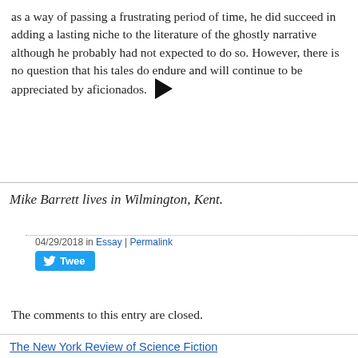as a way of passing a frustrating period of time, he did succeed in adding a lasting niche to the literature of the ghostly narrative although he probably had not expected to do so. However, there is no question that his tales do endure and will continue to be appreciated by aficionados.
Mike Barrett lives in Wilmington, Kent.
04/29/2018 in Essay | Permalink
Tweet
The comments to this entry are closed.
The New York Review of Science Fiction